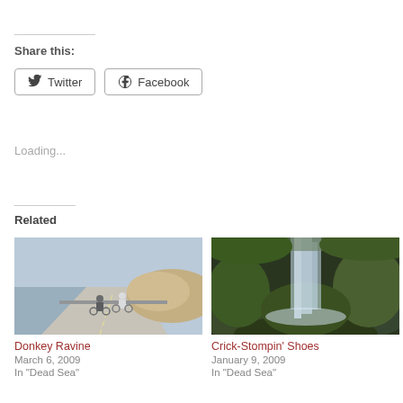Share this:
Twitter   Facebook
Loading...
Related
[Figure (photo): Two cyclists riding on a coastal road with hills in the background, hazy sky]
Donkey Ravine
March 6, 2009
In "Dead Sea"
[Figure (photo): A waterfall flowing over green mossy rocks in a lush setting]
Crick-Stompin' Shoes
January 9, 2009
In "Dead Sea"